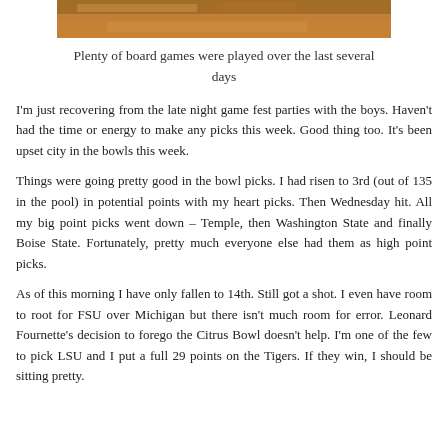[Figure (photo): Bottom portion of a photo showing board games on a wooden table surface]
Plenty of board games were played over the last several days
I'm just recovering from the late night game fest parties with the boys. Haven't had the time or energy to make any picks this week. Good thing too. It's been upset city in the bowls this week.
Things were going pretty good in the bowl picks. I had risen to 3rd (out of 135 in the pool) in potential points with my heart picks. Then Wednesday hit. All my big point picks went down – Temple, then Washington State and finally Boise State. Fortunately, pretty much everyone else had them as high point picks.
As of this morning I have only fallen to 14th. Still got a shot. I even have room to root for FSU over Michigan but there isn't much room for error. Leonard Fournette's decision to forego the Citrus Bowl doesn't help. I'm one of the few to pick LSU and I put a full 29 points on the Tigers. If they win, I should be sitting pretty.